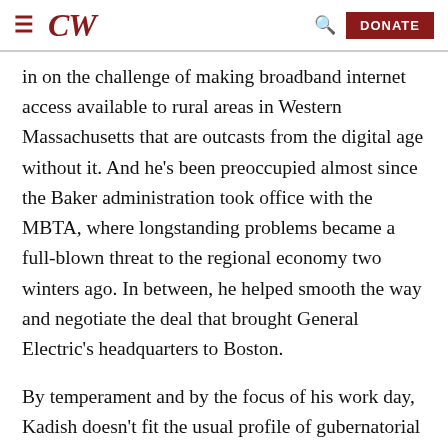CW | DONATE
in on the challenge of making broadband internet access available to rural areas in Western Massachusetts that are outcasts from the digital age without it. And he's been preoccupied almost since the Baker administration took office with the MBTA, where longstanding problems became a full-blown threat to the regional economy two winters ago. In between, he helped smooth the way and negotiate the deal that brought General Electric's headquarters to Boston.
By temperament and by the focus of his work day, Kadish doesn't fit the usual profile of gubernatorial chief of staff, a position more associated with a hard-charging personality who often functions as the top